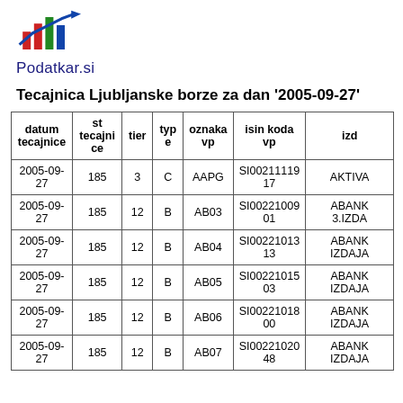[Figure (logo): Podatkar.si logo with bar/line chart icon in red, green, blue and a blue arrow]
Tecajnica Ljubljanske borze za dan '2005-09-27'
| datum tecajnice | st tecajnice | tier | type | oznaka vp | isin koda vp | izd... |
| --- | --- | --- | --- | --- | --- | --- |
| 2005-09-27 | 185 | 3 | C | AAPG | SI0021111917 | AKTIVA... |
| 2005-09-27 | 185 | 12 | B | AB03 | SI0022100901 | ABANK... 3.IZDA... |
| 2005-09-27 | 185 | 12 | B | AB04 | SI0022101313 | ABANK... IZDAJA... |
| 2005-09-27 | 185 | 12 | B | AB05 | SI0022101503 | ABANK... IZDAJA... |
| 2005-09-27 | 185 | 12 | B | AB06 | SI0022101800 | ABANK... IZDAJA... |
| 2005-09-27 | 185 | 12 | B | AB07 | SI0022102048 | ABANK... IZDAJA... |